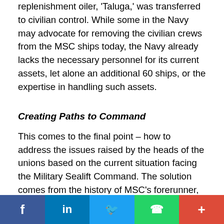replenishment oiler, 'Taluga,' was transferred to civilian control. While some in the Navy may advocate for removing the civilian crews from the MSC ships today, the Navy already lacks the necessary personnel for its current assets, let alone an additional 60 ships, or the expertise in handling such assets.
Creating Paths to Command
This comes to the final point – how to address the issues raised by the heads of the unions based on the current situation facing the Military Sealift Command. The solution comes from the history of MSC's forerunner, MSTS, and its counterpart across the seas, the Royal Fleet Auxiliary (RFA) of Great Britain. Within MSC's command structure are five Senior Executives – Legal Counsel, Director of Total Force Management, Director of Ship Management, Director of Maritime Operations, and Executive Director. They are all stellar and outstanding qualified people, and
Social share bar: Facebook, LinkedIn, Twitter, WhatsApp, Google+